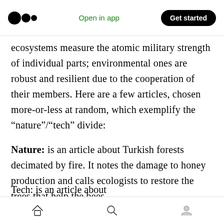Medium logo | Open in app | Get started
ecosystems measure the atomic military strength of individual parts; environmental ones are robust and resilient due to the cooperation of their members. Here are a few articles, chosen more-or-less at random, which exemplify the “nature”/“tech” divide:
Nature: is an article about Turkish forests decimated by fire. It notes the damage to honey production and calls ecologists to restore the trees that help the bees.
Tech: is an article about...
Home | Search | Profile